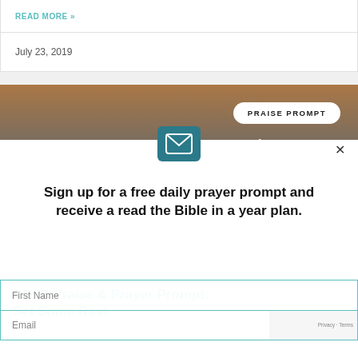READ MORE »
July 23, 2019
[Figure (photo): Autumn forest scene with warm orange tones used as banner background for a Bible verse quote about rest]
PRAISE PROMPT
It is in vain that you rise up early and go late to rest, eating the bread of anxious toil; for he gives his beloved sleep.
Sign up for a free daily prayer prompt and receive a read the Bible in a year plan.
5.2.19 Praise & Prayer Prompt: Get Some Rest
First Name
Email